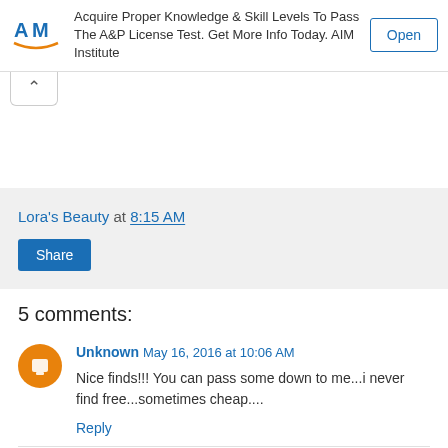[Figure (other): Advertisement banner: AIM Institute logo, text 'Acquire Proper Knowledge & Skill Levels To Pass The A&P License Test. Get More Info Today. AIM Institute', and an 'Open' button]
[Figure (other): Collapse/chevron up tab button]
Lora's Beauty at 8:15 AM
Share
5 comments:
Unknown May 16, 2016 at 10:06 AM
Nice finds!!! You can pass some down to me...i never find free...sometimes cheap....
Reply